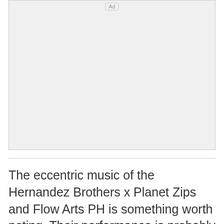[Figure (other): Advertisement placeholder box with 'Ad' label button at top center]
The eccentric music of the Hernandez Brothers x Planet Zips and Flow Arts PH is something worth noting. Their performance is probably the one that stayed with me the